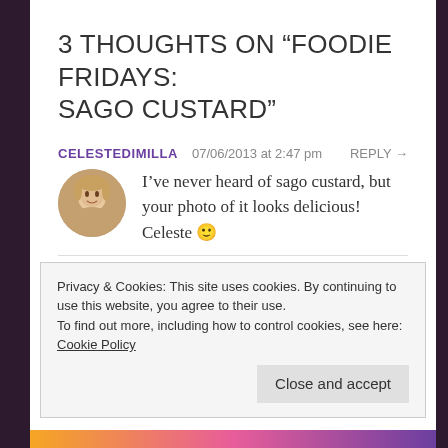3 THOUGHTS ON “FOODIE FRIDAYS: SAGO CUSTARD”
CELESTEDIMILLA  07/06/2013 at 2:47 pm  REPLY →
I’ve never heard of sago custard, but your photo of it looks delicious! Celeste 🙂
BANDHNABAJAJ  24/06/2013 at 4:24 pm  REPLY →
Privacy & Cookies: This site uses cookies. By continuing to use this website, you agree to their use.
To find out more, including how to control cookies, see here: Cookie Policy
Close and accept